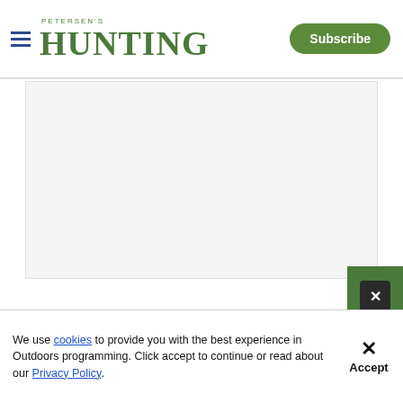PETERSEN'S HUNTING — Subscribe
[Figure (screenshot): Advertisement placeholder area — light gray rectangle]
Charged: Be...
Ben O'Brien
[Figure (screenshot): Embedded video player showing 'Flat Innovation – The Victory SF 32 Binocular' with a hunter using binoculars. Video time shows 00:00 / 03:52 with playback controls.]
We use cookies to provide you with the best experience in Outdoors programming. Click accept to continue or read about our Privacy Policy.